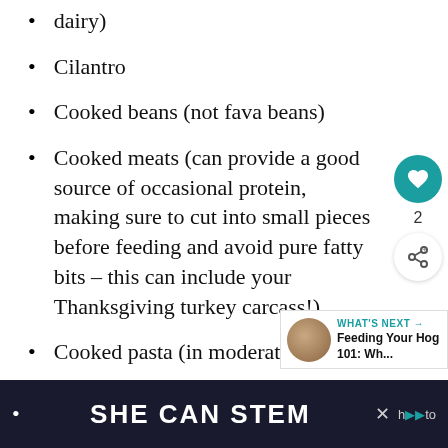dairy)
Cilantro
Cooked beans (not fava beans)
Cooked meats (can provide a good source of occasional protein, making sure to cut into small pieces before feeding and avoid pure fatty bits – this can include your Thanksgiving turkey carcass!)
Cooked pasta (in moderation)
Cooked rice
SHE CAN STEM